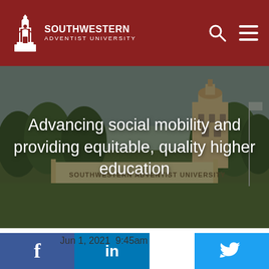SOUTHWESTERN ADVENTIST UNIVERSITY
[Figure (photo): Campus entrance photo with trees and the Southwestern Adventist University sign, overcast sky. White overlay text reads: Advancing social mobility and providing equitable, quality higher education]
Equity, Education, and the American Dream
Jun 1, 2021  9:45am
rson